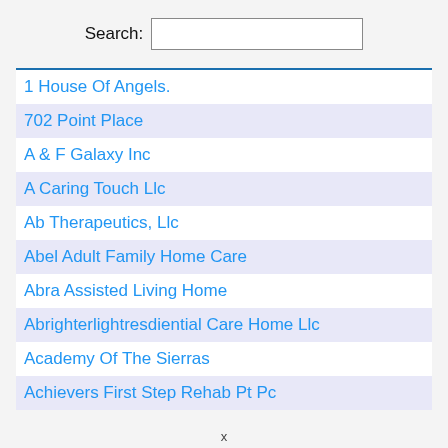Search:
1 House Of Angels.
702 Point Place
A & F Galaxy Inc
A Caring Touch Llc
Ab Therapeutics, Llc
Abel Adult Family Home Care
Abra Assisted Living Home
Abrighterlightresdiential Care Home Llc
Academy Of The Sierras
Achievers First Step Rehab Pt Pc
x